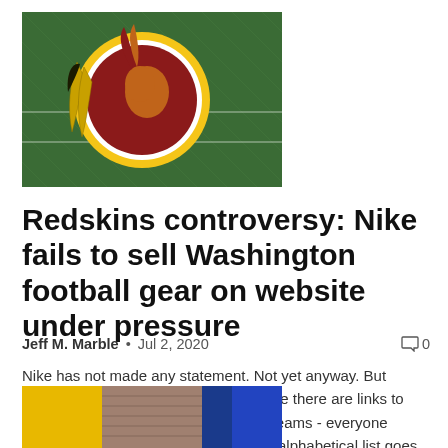[Figure (photo): Washington Redskins logo on a football field, showing the Native American profile in red and yellow circle with feathers, on green grass field]
Redskins controversy: Nike fails to sell Washington football gear on website under pressure
Jeff M. Marble  •  Jul 2, 2020   0
Nike has not made any statement. Not yet anyway. But Thursday night on Nike.com's NFL page there are links to pages for outfitting 31 of the league's teams - everyone except the Washington Redskins. The alphabetical list goes from the...
[Figure (photo): Partial image at bottom of page showing what appears to be a brick or stone surface with colored sections]